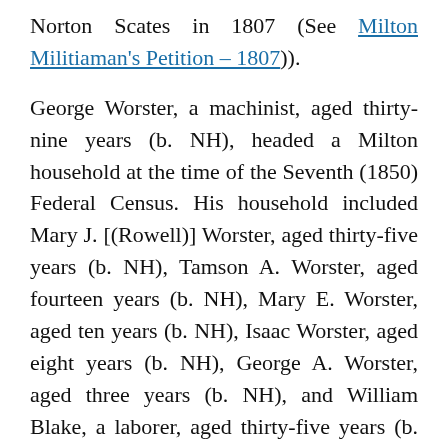Norton Scates in 1807 (See Milton Militiaman's Petition – 1807)).
George Worster, a machinist, aged thirty-nine years (b. NH), headed a Milton household at the time of the Seventh (1850) Federal Census. His household included Mary J. [(Rowell)] Worster, aged thirty-five years (b. NH), Tamson A. Worster, aged fourteen years (b. NH), Mary E. Worster, aged ten years (b. NH), Isaac Worster, aged eight years (b. NH), George A. Worster, aged three years (b. NH), and William Blake, a laborer, aged thirty-five years (b. Ireland). George Worster had real estate valued at $3,000. Their household appeared in the enumeration between those of Joseph